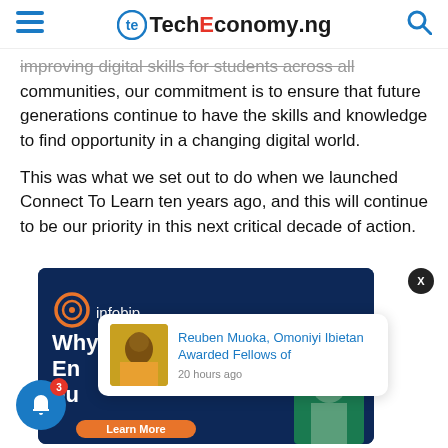TechEconomy.ng
improving digital skills for students across all communities, our commitment is to ensure that future generations continue to have the skills and knowledge to find opportunity in a changing digital world.
This was what we set out to do when we launched Connect To Learn ten years ago, and this will continue to be our priority in this next critical decade of action.
[Figure (infographic): Infobip advertisement banner with dark blue background showing 'Why Omnichannel En... Fu...' headline, infobip logo, Learn More orange button, and person image]
Reuben Muoka, Omoniyi Ibietan Awarded Fellows of
20 hours ago